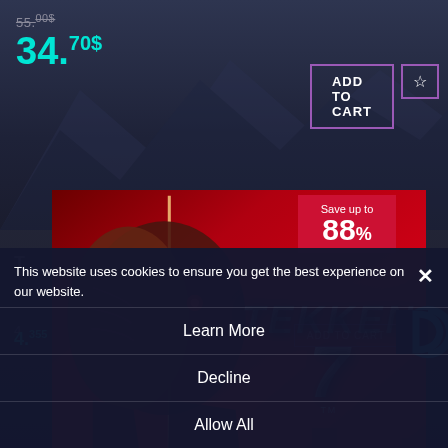F10 Manager 2022
55.00$ (original price, strikethrough)
34.70$
[Figure (screenshot): ADD TO CART button with purple border and star/wishlist icon button]
[Figure (photo): Tekken 7 promotional banner showing a character face split in two (old man and younger version) on red background with Tekken 7 logo]
Save up to 88%
This website uses cookies to ensure you get the best experience on our website.
Learn More
Decline
Allow All
4.
ADD TO CART